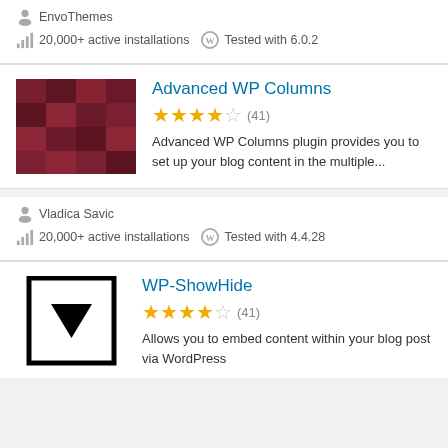EnvoThemes
20,000+ active installations   Tested with 6.0.2
Advanced WP Columns
[Figure (other): Plugin thumbnail: mosaic of dark red/maroon squares]
3.5 stars (41)
Advanced WP Columns plugin provides you to set up your blog content in the multiple...
Vladica Savic
20,000+ active installations   Tested with 4.4.28
WP-ShowHide
[Figure (other): Plugin thumbnail: black outlined square with downward-pointing triangle/arrow inside]
4 stars (41)
Allows you to embed content within your blog post via WordPress Short Code. (Tried it...